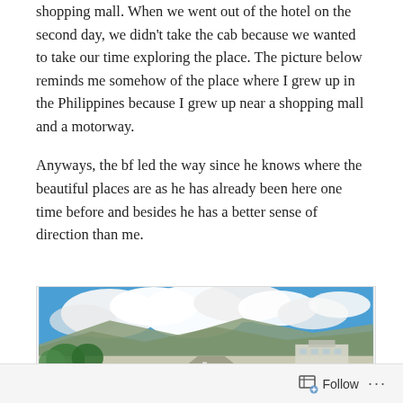shopping mall. When we went out of the hotel on the second day, we didn't take the cab because we wanted to take our time exploring the place. The picture below reminds me somehow of the place where I grew up in the Philippines because I grew up near a shopping mall and a motorway.

Anyways, the bf led the way since he knows where the beautiful places are as he has already been here one time before and besides he has a better sense of direction than me.
[Figure (photo): Outdoor panoramic photo showing a wide road/motorway with mountains in the background, a bright blue sky with large white clouds, trees and buildings visible in the foreground including a sign reading 'Gran' (partially visible).]